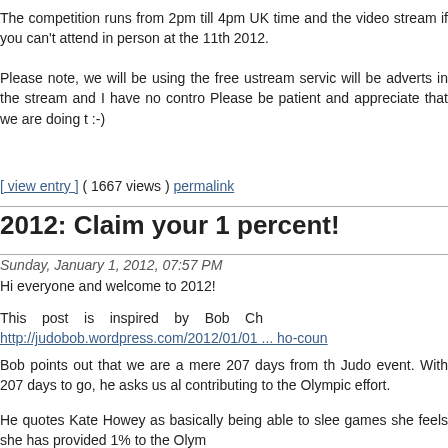The competition runs from 2pm till 4pm UK time and the video stream if you can't attend in person at the 11th 2012.
Please note, we will be using the free ustream service will be adverts in the stream and I have no control. Please be patient and appreciate that we are doing this :-)
[ view entry ] ( 1667 views ) permalink
2012: Claim your 1 percent!
Sunday, January 1, 2012, 07:57 PM
Hi everyone and welcome to 2012!
This post is inspired by Bob Ch http://judobob.wordpress.com/2012/01/01 ... ho-count
Bob points out that we are a mere 207 days from the Judo event. With 207 days to go, he asks us all contributing to the Olympic effort.
He quotes Kate Howey as basically being able to sleep games she feels she has provided 1% to the Olymp...